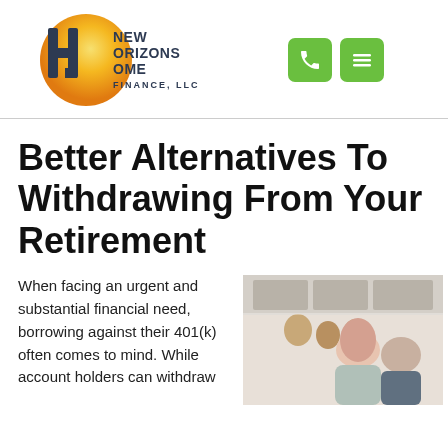[Figure (logo): New Horizons Home Finance, LLC logo with golden circle background, dark blue H letter and text]
[Figure (other): Green phone icon button and green hamburger menu icon button]
Better Alternatives To Withdrawing From Your Retirement
When facing an urgent and substantial financial need, borrowing against their 401(k) often comes to mind. While account holders can withdraw
[Figure (photo): An older couple sitting together, the woman wearing a pink towel on her head, looking at something together]